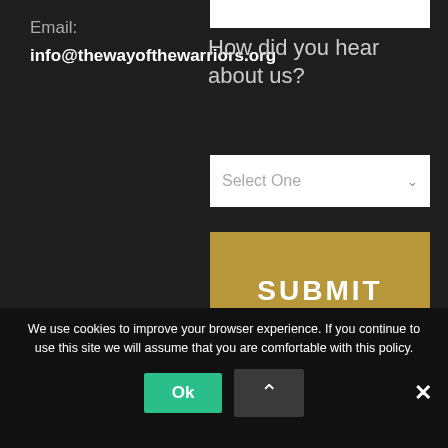Email:
info@thewayofthewarriors.org
How did you hear about us?
[Figure (screenshot): Dropdown select box with placeholder text 'Select One' and a chevron arrow]
[Figure (screenshot): Gold/tan colored SUBMIT button]
We use cookies to improve your browser experience. If you continue to use this site we will assume that you are comfortable with this policy.
Ok
×